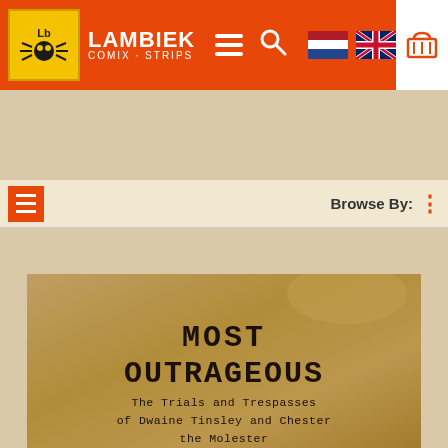LAMBIEK COMIX · STRIPS
Publishers > Fantagraphics > series: Most outrageous > Artist: Bob Levin : Publisher: Fantagraphics
[Figure (photo): Book cover of 'Most Outrageous: The Trials and Trespasses of Dwaine Tinsley and Chester the Molester' on a tan/kraft paper background with typewriter-style text.]